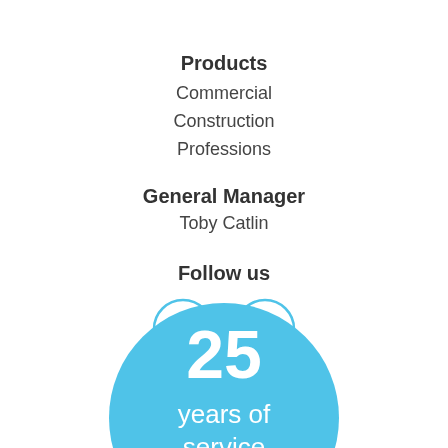Products
Commercial
Construction
Professions
General Manager
Toby Catlin
Follow us
[Figure (infographic): Twitter and LinkedIn social media icons as light blue outlined circles with bird and 'in' symbols respectively]
[Figure (infographic): Large light blue circle badge with white text reading '25 years of service' (partially cropped at bottom)]